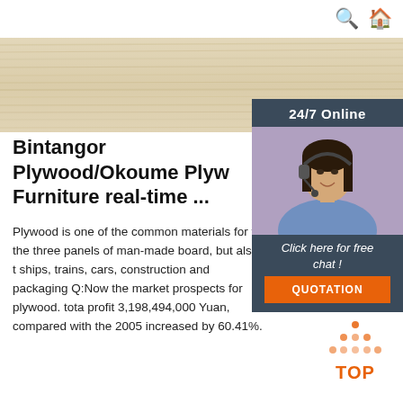Search | Home
[Figure (photo): Wood grain texture — light blonde/cream colored plywood surface]
[Figure (photo): 24/7 Online customer service sidebar with woman wearing headset, Click here for free chat! button and QUOTATION button]
Bintangor Plywood/Okoume Plyw Furniture real-time ...
Plywood is one of the common materials for fu the three panels of man-made board, but also t ships, trains, cars, construction and packaging Q:Now the market prospects for plywood. tota profit 3,198,494,000 Yuan, compared with the 2005 increased by 60.41%.
Get Price